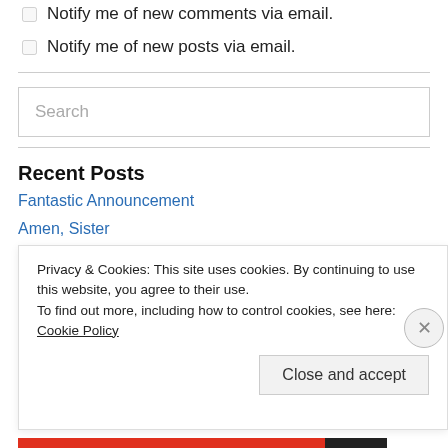Notify me of new comments via email.
Notify me of new posts via email.
Search
Recent Posts
Fantastic Announcement
Amen, Sister
Deliver What You Promised
Privacy & Cookies: This site uses cookies. By continuing to use this website, you agree to their use. To find out more, including how to control cookies, see here: Cookie Policy
Close and accept